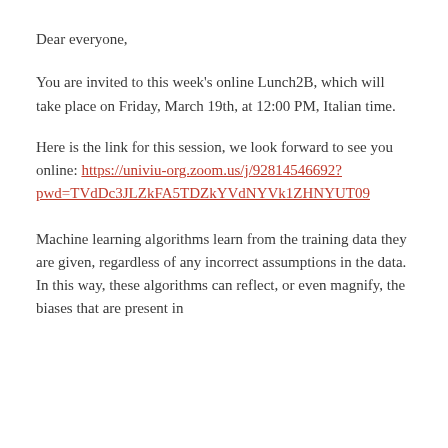Dear everyone,
You are invited to this week's online Lunch2B, which will take place on Friday, March 19th, at 12:00 PM, Italian time.
Here is the link for this session, we look forward to see you online: https://univiu-org.zoom.us/j/92814546692?pwd=TVdDc3JLZkFA5TDZkYVdNYVk1ZHNYUT09
Machine learning algorithms learn from the training data they are given, regardless of any incorrect assumptions in the data. In this way, these algorithms can reflect, or even magnify, the biases that are present in